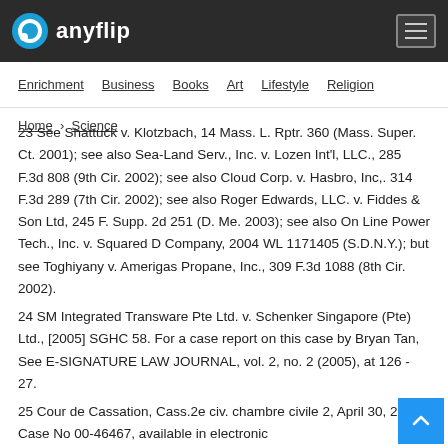anyflip
Enrichment | Business | Books | Art | Lifestyle | Religion
Home > Science
23 See Shattuck v. Klotzbach, 14 Mass. L. Rptr. 360 (Mass. Super. Ct. 2001); see also Sea-Land Serv., Inc. v. Lozen Int'l, LLC., 285 F.3d 808 (9th Cir. 2002); see also Cloud Corp. v. Hasbro, Inc,. 314 F.3d 289 (7th Cir. 2002); see also Roger Edwards, LLC. v. Fiddes & Son Ltd, 245 F. Supp. 2d 251 (D. Me. 2003); see also On Line Power Tech., Inc. v. Squared D Company, 2004 WL 1171405 (S.D.N.Y.); but see Toghiyany v. Amerigas Propane, Inc., 309 F.3d 1088 (8th Cir. 2002).
24 SM Integrated Transware Pte Ltd. v. Schenker Singapore (Pte) Ltd., [2005] SGHC 58. For a case report on this case by Bryan Tan, See E-SIGNATURE LAW JOURNAL, vol. 2, no. 2 (2005), at 126 - 27.
25 Cour de Cassation, Cass.2e civ. chambre civile 2, April 30, 2003, Case No 00-46467, available in electronic